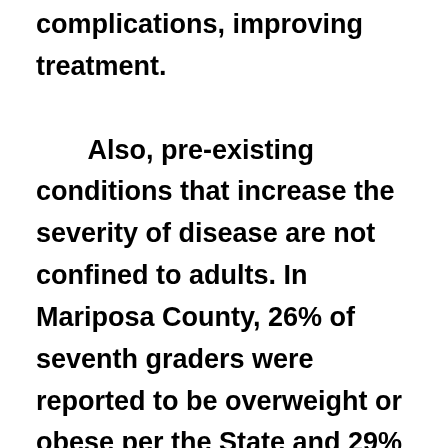complications, improving treatment.

        Also, pre-existing conditions that increase the severity of disease are not confined to adults. In Mariposa County, 26% of seventh graders were reported to be overweight or obese per the State and 29% of those in grades 11 – 12 were smokers.

        We're probably more susceptible to